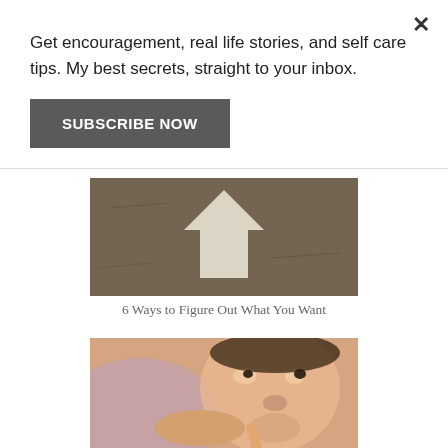Get encouragement, real life stories, and self care tips. My best secrets, straight to your inbox.
SUBSCRIBE NOW
6 Ways to Figure Out What You Want
[Figure (photo): Close-up photo of pavement with a white arrow painted on it pointing upward]
Are you setting yourself up for failure?
[Figure (photo): Close-up photo of a baby or young child with their finger near their mouth, looking sideways]